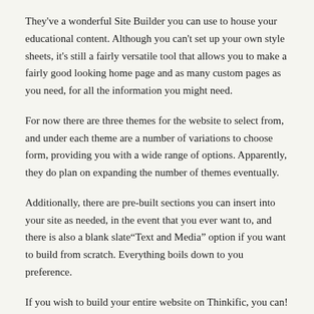They've a wonderful Site Builder you can use to house your educational content. Although you can't set up your own style sheets, it's still a fairly versatile tool that allows you to make a fairly good looking home page and as many custom pages as you need, for all the information you might need.
For now there are three themes for the website to select from, and under each theme are a number of variations to choose form, providing you with a wide range of options. Apparently, they do plan on expanding the number of themes eventually.
Additionally, there are pre-built sections you can insert into your site as needed, in the event that you ever want to, and there is also a blank slate“Text and Media” option if you want to build from scratch. Everything boils down to you preference.
If you wish to build your entire website on Thinkific, you can! It is equipped enough to allow you to do that.